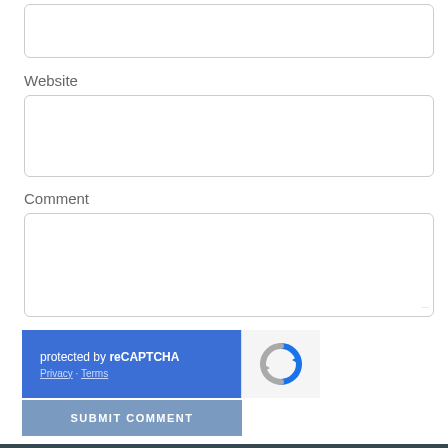[Figure (other): Empty text input box at top of form]
Website
[Figure (other): Website text input box]
Comment
[Figure (other): Comment textarea input box]
[Figure (screenshot): reCAPTCHA widget: blue panel with 'protected by reCAPTCHA', Privacy - Terms links, and reCAPTCHA logo on grey panel]
[Figure (other): SUBMIT COMMENT button in blue-grey color]
*Required Fields